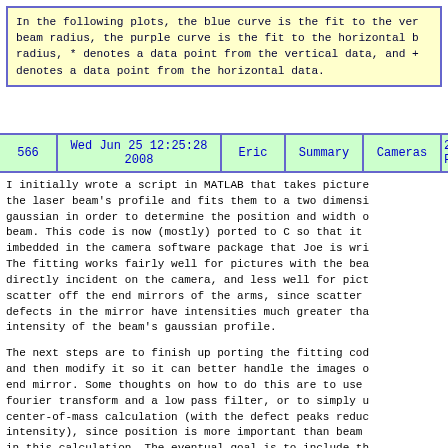In the following plots, the blue curve is the fit to the vertical beam radius, the purple curve is the fit to the horizontal beam radius, * denotes a data point from the vertical data, and + denotes a data point from the horizontal data.
| 566 | Wed Jun 25 12:25:28 2008 | Eric | Summary | Cameras | 2D Fitt... |
| --- | --- | --- | --- | --- | --- |
I initially wrote a script in MATLAB that takes pictures of the laser beam's profile and fits them to a two dimensional gaussian in order to determine the position and width of the beam. This code is now (mostly) ported to C so that it can be imbedded in the camera software package that Joe is writing. The fitting works fairly well for pictures with the beam directly incident on the camera, and less well for pictures of scatter off the end mirrors of the arms, since scatter from defects in the mirror have intensities much greater than the intensity of the beam's gaussian profile.
The next steps are to finish up porting the fitting code and then modify it so it can better handle the images of the end mirror. Some thoughts on how to do this are to use a fourier transform and a low pass filter, or to simply use a center-of-mass calculation (with the defect peaks reduced in intensity), since position is more important than beam size in this calculation. The eventual goal is to include the fit of the optic in the picture and use the fit of the beam...